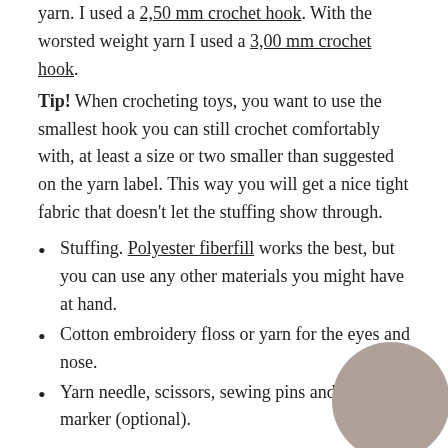yarn. I used a 2,50 mm crochet hook. With the worsted weight yarn I used a 3,00 mm crochet hook.
Tip! When crocheting toys, you want to use the smallest hook you can still crochet comfortably with, at least a size or two smaller than suggested on the yarn label. This way you will get a nice tight fabric that doesn't let the stuffing show through.
Stuffing. Polyester fiberfill works the best, but you can use any other materials you might have at hand.
Cotton embroidery floss or yarn for the eyes and nose.
Yarn needle, scissors, sewing pins and a stitch marker (optional).
I do hope to see you on Monday, leave me a comment below if you'll be joining us or come by our Ravelry group.
If you have any questions, do not hesitate to contact me or leave a comment below, I am always happy to